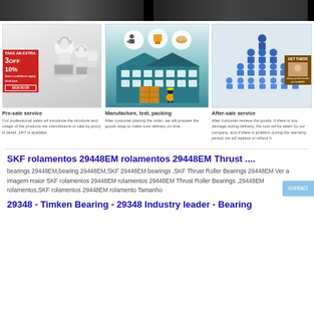[Figure (photo): Top row: two dark banner images side by side — left shows a dark industrial/road surface, right shows a dark truck/vehicle image]
[Figure (illustration): Pre-sale service illustration: white robot-like figures with headsets working at laptops; promotional badge showing '3 OFF 10%' on left side]
[Figure (illustration): Manufacture, test, packing: flat design factory building illustration with icons for logistics above]
[Figure (illustration): After-sale service: group of people in blue uniforms arranged in triangle formation; small customer service badge on right]
Pre-sale service
Our professional sales wil introduce the structure and usage of the products we manufacture or sale by proxy in detail. 24/7 is available.
Manufacture, test, packing
After customer placing the order, we will prepare the goods asap to make sure delivery on time.
After-sale service
After customer recieve the goods, if there is any damage during delivery, the cost wil be taken by our company, and if there is problem during the warranty period, we wil replace or refund it.
SKF rolamentos 29448EM rolamentos 29448EM Thrust ....
bearings 29448EM,bearing 29448EM,SKF 29448EM bearings ,SKF Thrust Roller Bearings 29448EM Ver a imagem maior SKF rolamentos 29448EM rolamentos 29448EM Thrust Roller Bearings ,29448EM rolamentos,SKF rolamentos 29448EM rolamento Tamanho
29348 - Timken Bearing - 29348 Industry leader - Bearing